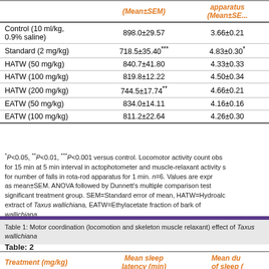| Treatment (mg/kg) | Locomotor activity count (Mean±SEM) | Rota-rod apparatus (Mean±SEM) |
| --- | --- | --- |
| Control (10 ml/kg, 0.9% saline) | 898.0±29.57 | 3.66±0.21 |
| Standard (2 mg/kg) | 718.5±35.40*** | 4.83±0.30* |
| HATW (50 mg/kg) | 840.7±41.80 | 4.33±0.33 |
| HATW (100 mg/kg) | 819.8±12.22 | 4.50±0.34 |
| HATW (200 mg/kg) | 744.5±17.74** | 4.66±0.21 |
| EATW (50 mg/kg) | 834.0±14.11 | 4.16±0.16 |
| EATW (100 mg/kg) | 811.2±22.64 | 4.26±0.30 |
*P<0.05, **P<0.01, ***P<0.001 versus control. Locomotor activity count observed for 15 min at 5 min interval in actophotometer and muscle-relaxant activity scored for number of falls in rota-rod apparatus for 1 min. n=6. Values are expressed as mean±SEM. ANOVA followed by Dunnett's multiple comparison test versus significant treatment group. SEM=Standard error of mean, HATW=Hydroalcoholic extract of Taxus wallichiana, EATW=Ethylacetate fraction of bark of Taxus wallichiana
Table 1: Motor coordination (locomotion and skeleton muscle relaxant) effect of Taxus wallichiana
Table: 2
| Treatment (mg/kg) | Mean sleep latency (min) | Mean duration of sleep (min) |
| --- | --- | --- |
| Control (10) | 9.399±0.72 | 113.3±3... |